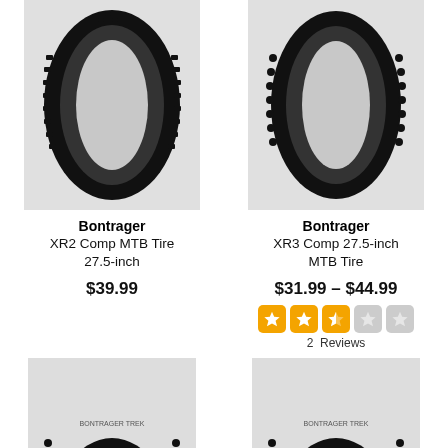[Figure (photo): Bontrager XR2 Comp MTB Tire 27.5-inch product photo on light grey background]
Bontrager
XR2 Comp MTB Tire 27.5-inch
$39.99
[Figure (photo): Bontrager XR3 Comp 27.5-inch MTB Tire product photo on light grey background]
Bontrager
XR3 Comp 27.5-inch MTB Tire
$31.99 – $44.99
[Figure (other): 2.5 star rating out of 5 stars shown as orange star boxes]
2  Reviews
[Figure (photo): Bottom left tire product photo cropped]
[Figure (photo): Bottom right tire product photo cropped]